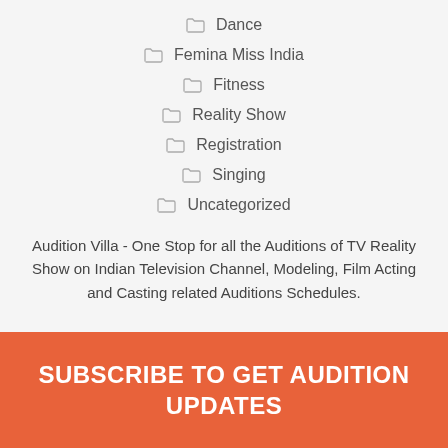Dance
Femina Miss India
Fitness
Reality Show
Registration
Singing
Uncategorized
Audition Villa - One Stop for all the Auditions of TV Reality Show on Indian Television Channel, Modeling, Film Acting and Casting related Auditions Schedules.
SUBSCRIBE TO GET AUDITION UPDATES